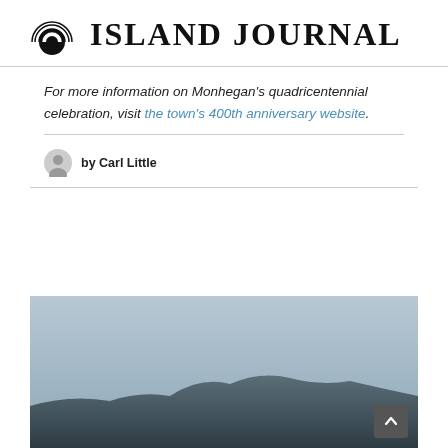ISLAND JOURNAL
For more information on Monhegan's quadricentennial celebration, visit the town's 400th anniversary website.
by Carl Little
[Figure (photo): Landscape photo showing a distant mountain or island ridge against a grey-blue sky, taken from the water.]